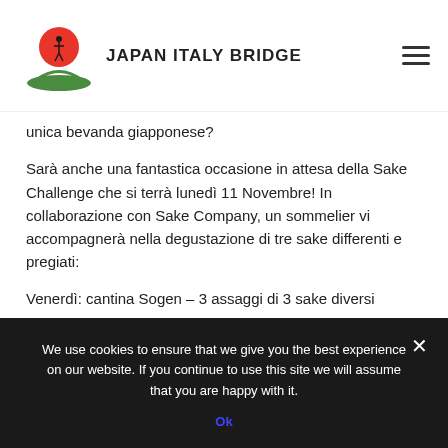JAPAN ITALY BRIDGE
unica bevanda giapponese?
Sarà anche una fantastica occasione in attesa della Sake Challenge che si terrà lunedì 11 Novembre! In collaborazione con Sake Company, un sommelier vi accompagnerà nella degustazione di tre sake differenti e pregiati:
Venerdì: cantina Sogen – 3 assaggi di 3 sake diversi
Sabato: cantina Urakasumi – 3 assaggi di 3 sake diversi
We use cookies to ensure that we give you the best experience on our website. If you continue to use this site we will assume that you are happy with it.